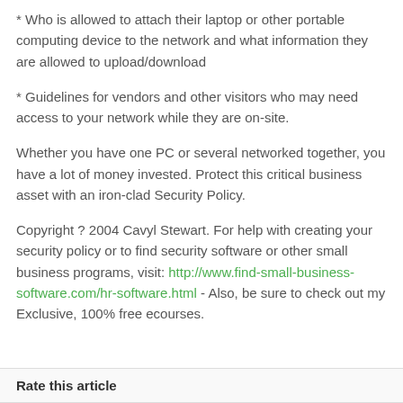* Who is allowed to attach their laptop or other portable computing device to the network and what information they are allowed to upload/download
* Guidelines for vendors and other visitors who may need access to your network while they are on-site.
Whether you have one PC or several networked together, you have a lot of money invested. Protect this critical business asset with an iron-clad Security Policy.
Copyright ? 2004 Cavyl Stewart. For help with creating your security policy or to find security software or other small business programs, visit: http://www.find-small-business-software.com/hr-software.html - Also, be sure to check out my Exclusive, 100% free ecourses.
Rate this article